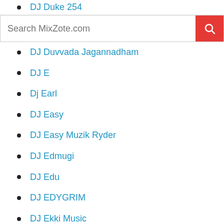DJ Duke 254
[Figure (screenshot): Search bar for MixZote.com with red search button]
DJ Duvvada Jagannadham
DJ E
Dj Earl
DJ Easy
DJ Easy Muzik Ryder
DJ Edmugi
DJ Edu
DJ EDYGRIM
DJ Ekki Music
DJ EL SPINKING
DJ Emily Rawson
DJ ENKYDBE
DJ Exploid
DJ Extreme 254